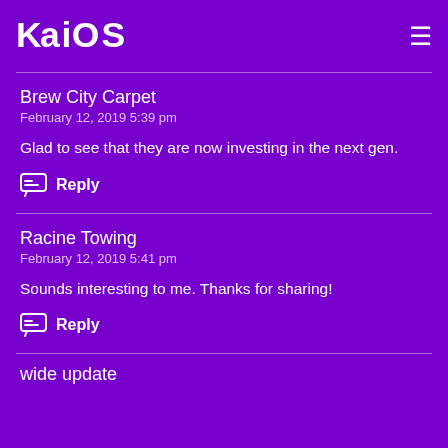KaiOS
Brew City Carpet
February 12, 2019 5:39 pm

Glad to see that they are now investing in the next gen.
Reply
Racine Towing
February 12, 2019 5:41 pm

Sounds interesting to me. Thanks for sharing!
Reply
wide update